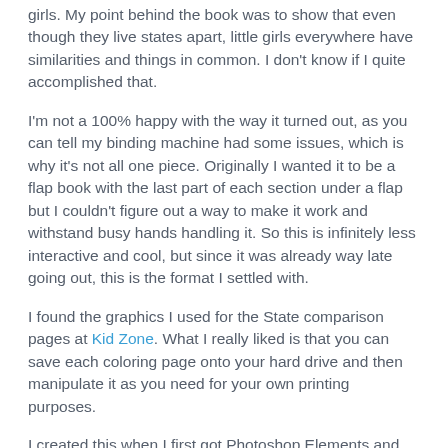girls. My point behind the book was to show that even though they live states apart, little girls everywhere have similarities and things in common. I don't know if I quite accomplished that.
I'm not a 100% happy with the way it turned out, as you can tell my binding machine had some issues, which is why it's not all one piece. Originally I wanted it to be a flap book with the last part of each section under a flap but I couldn't figure out a way to make it work and withstand busy hands handling it. So this is infinitely less interactive and cool, but since it was already way late going out, this is the format I settled with.
I found the graphics I used for the State comparison pages at Kid Zone. What I really liked is that you can save each coloring page onto your hard drive and then manipulate it as you need for your own printing purposes.
I created this when I first got Photoshop Elements and was stilll learning how to manipulate things in the program. I wish it had a more polished look, with all the pages being the